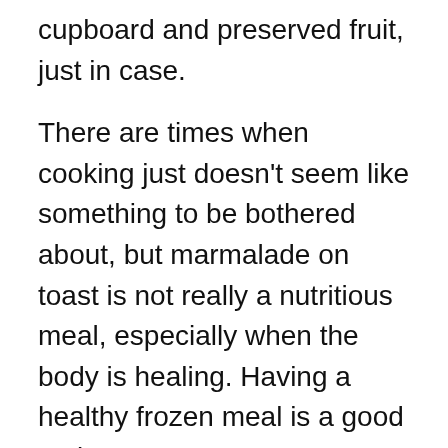cupboard and preserved fruit, just in case.
There are times when cooking just doesn't seem like something to be bothered about, but marmalade on toast is not really a nutritious meal, especially when the body is healing. Having a healthy frozen meal is a good option.
Hydration is very important. No-one wants a dehydration headache on top of a healing surgical site.
Ice
Continuing the hospital/rehab practice, I still